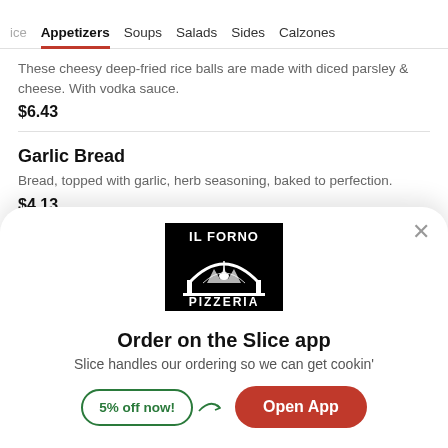ice  Appetizers  Soups  Salads  Sides  Calzones
These cheesy deep-fried rice balls are made with diced parsley & cheese. With vodka sauce.
$6.43
Garlic Bread
Bread, topped with garlic, herb seasoning, baked to perfection.
$4.13
[Figure (logo): IL FORNO PIZZERIA logo — white text and arch illustration on black background]
Order on the Slice app
Slice handles our ordering so we can get cookin'
5% off now!
Open App